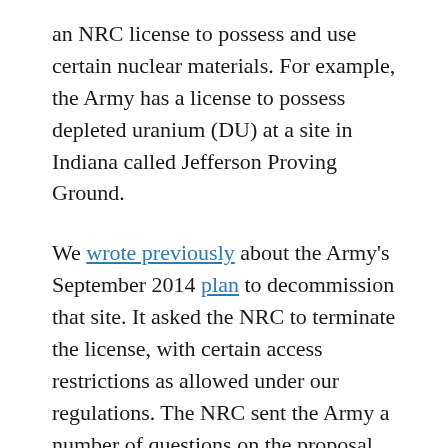an NRC license to possess and use certain nuclear materials. For example, the Army has a license to possess depleted uranium (DU) at a site in Indiana called Jefferson Proving Ground.
We wrote previously about the Army's September 2014 plan to decommission that site. It asked the NRC to terminate the license, with certain access restrictions as allowed under our regulations. The NRC sent the Army a number of questions on the proposal.
In an April letter, the Army said it now believes the environmental and occupational risks of decommissioning outweigh the benefits. So instead of decommissioning and releasing the